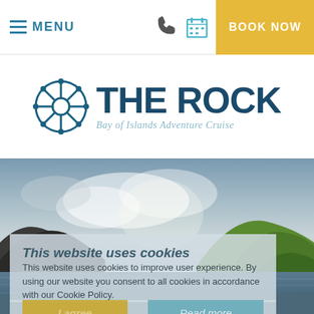MENU | BOOK NOW
[Figure (logo): The Rock - Bay of Islands Adventure Cruise logo with ship wheel icon]
[Figure (photo): Scenic photo of Bay of Islands showing ocean water, green hills, and cloudy sky]
This website uses cookies
This website uses cookies to improve user experience. By using our website you consent to all cookies in accordance with our Cookie Policy.
I agree | Read more